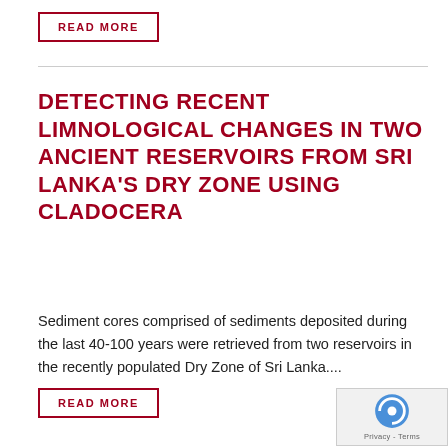READ MORE
DETECTING RECENT LIMNOLOGICAL CHANGES IN TWO ANCIENT RESERVOIRS FROM SRI LANKA'S DRY ZONE USING CLADOCERA
Sediment cores comprised of sediments deposited during the last 40-100 years were retrieved from two reservoirs in the recently populated Dry Zone of Sri Lanka....
READ MORE